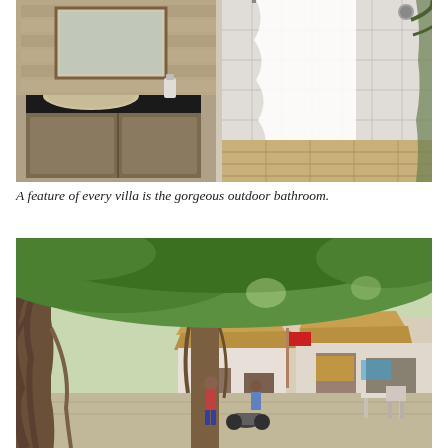[Figure (photo): Outdoor bathroom of a villa showing a stone sink on a dark countertop with rustic wood cabinetry on the left, and a shower area with white curtain, tiled walls and wooden floor on the right, with a palm tree visible in the background.]
A feature of every villa is the gorgeous outdoor bathroom.
[Figure (photo): Outdoor market or village street scene with large banyan tree roots in the foreground, lush green trees overhead, thatched-roof stalls and shops in the background, people and a motorcycle visible.]